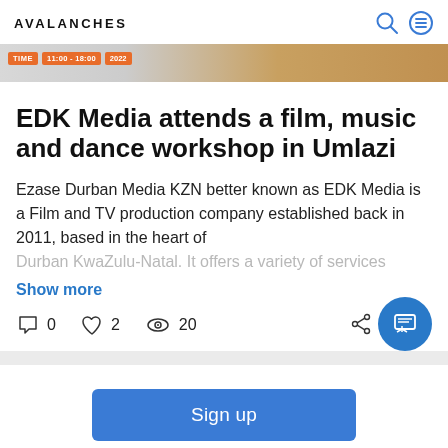AVALANCHES
[Figure (photo): Banner strip showing a partial event ticket/flyer with orange pills labeled TIME, 11:00-18:00, 2022 on a light and tan background]
EDK Media attends a film, music and dance workshop in Umlazi
Ezase Durban Media KZN better known as EDK Media is a Film and TV production company established back in 2011, based in the heart of Durban KwaZulu-Natal. It offers a variety of services
Show more
0   2   20
Sign up